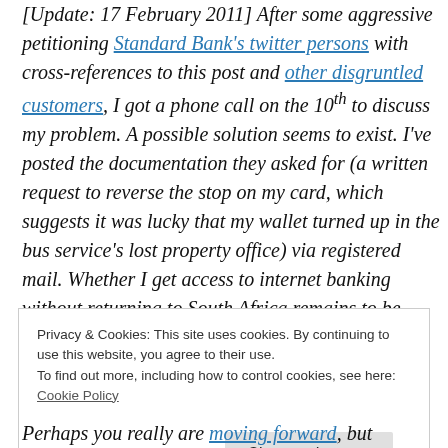[Update: 17 February 2011] After some aggressive petitioning Standard Bank's twitter persons with cross-references to this post and other disgruntled customers, I got a phone call on the 10th to discuss my problem. A possible solution seems to exist. I've posted the documentation they asked for (a written request to reverse the stop on my card, which suggests it was lucky that my wallet turned up in the bus service's lost property office) via registered mail. Whether I get access to internet banking without returning to South Africa remains to be
Privacy & Cookies: This site uses cookies. By continuing to use this website, you agree to their use.
To find out more, including how to control cookies, see here: Cookie Policy

[Close and accept button]
Perhaps you really are moving forward, but